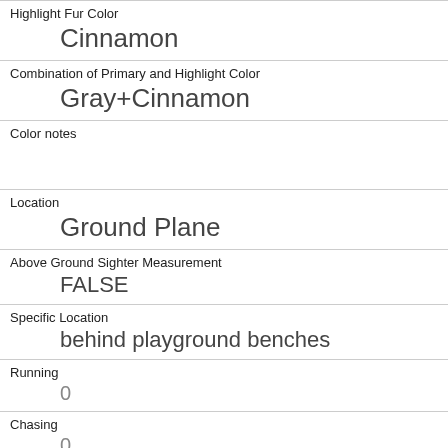| Highlight Fur Color | Cinnamon |
| Combination of Primary and Highlight Color | Gray+Cinnamon |
| Color notes |  |
| Location | Ground Plane |
| Above Ground Sighter Measurement | FALSE |
| Specific Location | behind playground benches |
| Running | 0 |
| Chasing | 0 |
| Climbing | 0 |
| Eating | 1 |